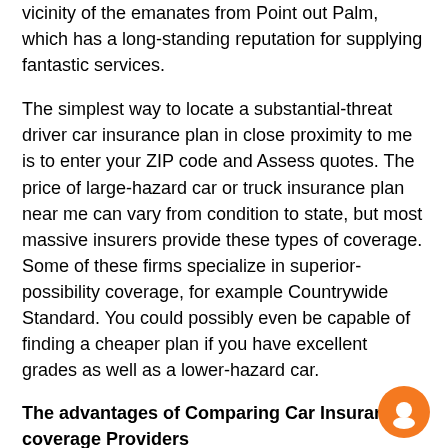vicinity of the emanates from Point out Palm, which has a long-standing reputation for supplying fantastic services.
The simplest way to locate a substantial-threat driver car insurance plan in close proximity to me is to enter your ZIP code and Assess quotes. The price of large-hazard car or truck insurance plan near me can vary from condition to state, but most massive insurers provide these types of coverage. Some of these firms specialize in superior-possibility coverage, for example Countrywide Standard. You could possibly even be capable of finding a cheaper plan if you have excellent grades as well as a lower-hazard car.
The advantages of Comparing Car Insurance coverage Providers
There are plenty of advantages of comparing vehicle coverage businesses. On this page, We'll focus on many of The main attributes, which include rankings, discounts, and customer care. Selecting the finest policy is essential for your safety and safety, so make time to compare different